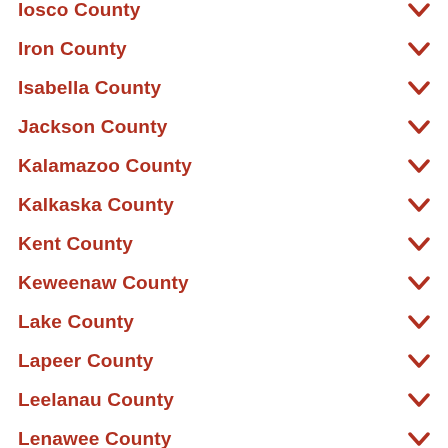Iosco County
Iron County
Isabella County
Jackson County
Kalamazoo County
Kalkaska County
Kent County
Keweenaw County
Lake County
Lapeer County
Leelanau County
Lenawee County